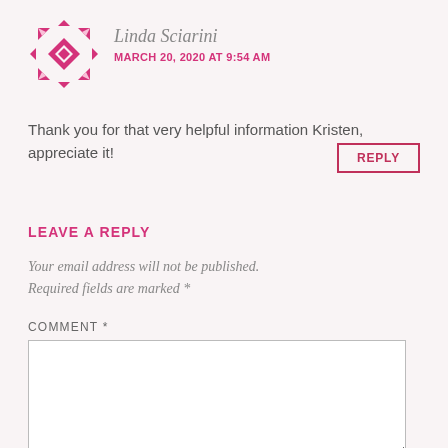Linda Sciarini
MARCH 20, 2020 AT 9:54 AM
Thank you for that very helpful information Kristen, appreciate it!
REPLY
LEAVE A REPLY
Your email address will not be published. Required fields are marked *
COMMENT *